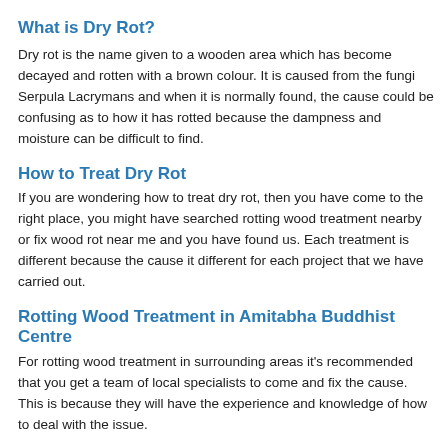What is Dry Rot?
Dry rot is the name given to a wooden area which has become decayed and rotten with a brown colour. It is caused from the fungi Serpula Lacrymans and when it is normally found, the cause could be confusing as to how it has rotted because the dampness and moisture can be difficult to find.
How to Treat Dry Rot
If you are wondering how to treat dry rot, then you have come to the right place, you might have searched rotting wood treatment nearby or fix wood rot near me and you have found us. Each treatment is different because the cause it different for each project that we have carried out.
Rotting Wood Treatment in Amitabha Buddhist Centre
For rotting wood treatment in surrounding areas it's recommended that you get a team of local specialists to come and fix the cause. This is because they will have the experience and knowledge of how to deal with the issue.